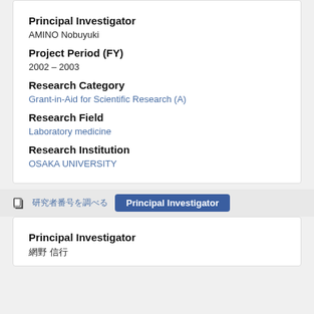Principal Investigator
AMINO Nobuyuki
Project Period (FY)
2002 – 2003
Research Category
Grant-in-Aid for Scientific Research (A)
Research Field
Laboratory medicine
Research Institution
OSAKA UNIVERSITY
研究者番号を調べる | Principal Investigator
Principal Investigator
網野 信行